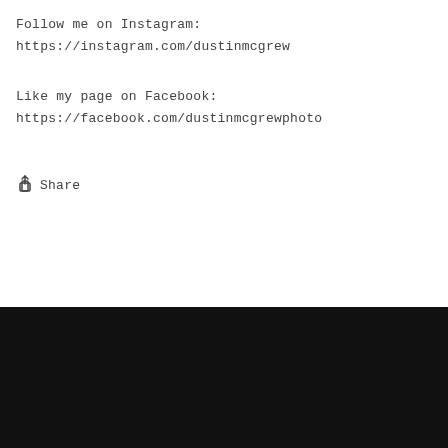Follow me on Instagram:
https://instagram.com/dustinmcgrew
Like my page on Facebook:
https://facebook.com/dustinmcgrewphoto
Share
Quick links
Pittsburgh Prints